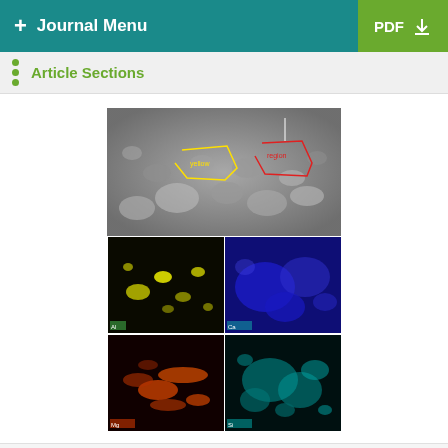+ Journal Menu   PDF ↓
Article Sections
[Figure (photo): SEM image and corresponding EDX mapping composite for Al, Ca, Mg, and Si in SCC15FA20. Top: grayscale SEM image with yellow and red outlined regions. Bottom-left pair: yellow/green EDX map and blue EDX map. Bottom-right pair: orange/red EDX map and teal/cyan EDX map.]
Figure 14
SEM image and corresponding EDX mapping for Al, Ca, Mg, and Si in SCC15FA20.